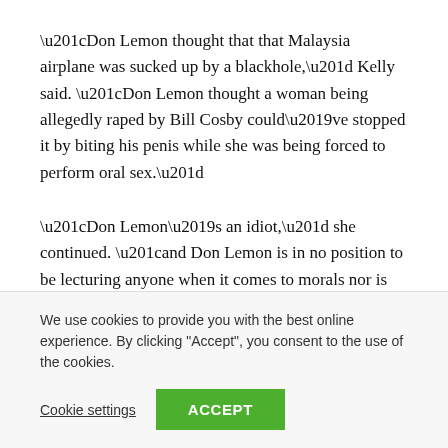“Don Lemon thought that that Malaysia airplane was sucked up by a blackhole,” Kelly said. “Don Lemon thought a woman being allegedly raped by Bill Cosby could’ve stopped it by biting his penis while she was being forced to perform oral sex.”
“Don Lemon’s an idiot,” she continued. “and Don Lemon is in no position to be lecturing anyone when it comes to morals nor is Chris Cuomo.”
WATCH:
We use cookies to provide you with the best online experience. By clicking “Accept”, you consent to the use of the cookies.
Cookie settings
ACCEPT